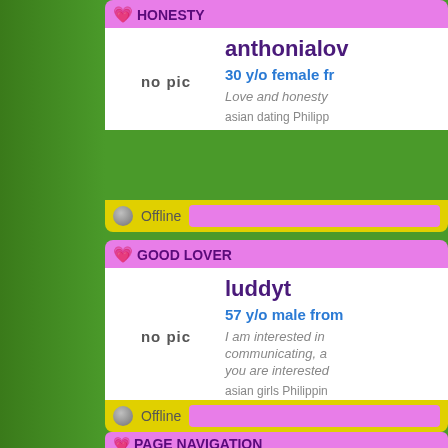HONESTY
anthonialov
30 y/o female fr
Love and honesty
asian dating Philipp
Offline
GOOD LOVER
luddyt
57 y/o male from
I am interested in communicating, a you are interested
asian girls Philippin
Offline
PAGE NAVIGATION
Results: 1-17 | Total: 17362